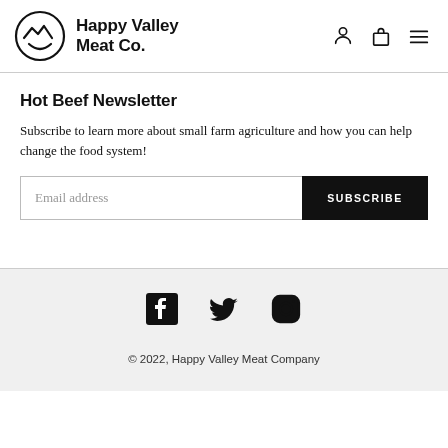Happy Valley Meat Co.
Hot Beef Newsletter
Subscribe to learn more about small farm agriculture and how you can help change the food system!
© 2022, Happy Valley Meat Company